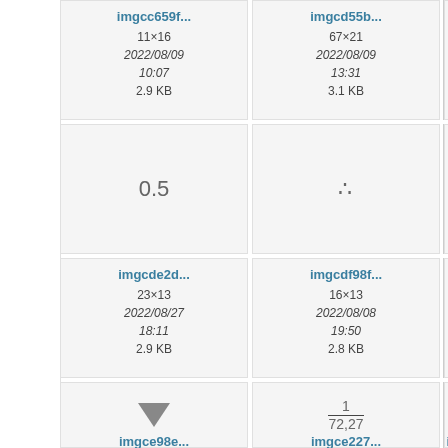[Figure (screenshot): File browser grid showing image thumbnails with metadata. Row 1: imgcc659f... (11x16, 2022/08/09 10:07, 2.9 KB), imgcd55b... (67x21, 2022/08/09 13:31, 3.1 KB), partial third item. Row 2: preview cells showing '0.5' and therefore-dots symbol. Row 3: imgcde2d... (23x13, 2022/08/27 18:11, 2.9 KB), imgcdf98f... (16x13, 2022/08/08 19:50, 2.8 KB), partial third. Row 4: preview cells showing triangle and fraction 1/72,27. Row 5: imgce98e..., imgce227..., partial third.]